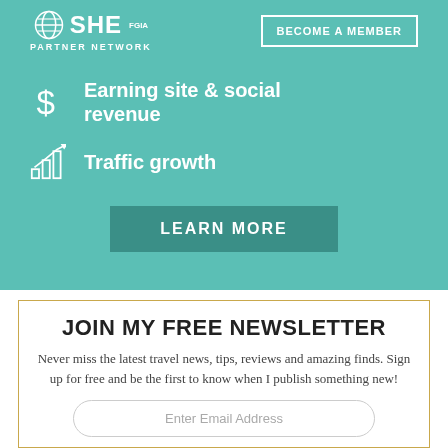[Figure (logo): SHE Media Partner Network logo with globe icon and 'BECOME A MEMBER' button on teal background]
Earning site & social revenue
Traffic growth
LEARN MORE
JOIN MY FREE NEWSLETTER
Never miss the latest travel news, tips, reviews and amazing finds. Sign up for free and be the first to know when I publish something new!
Enter Email Address